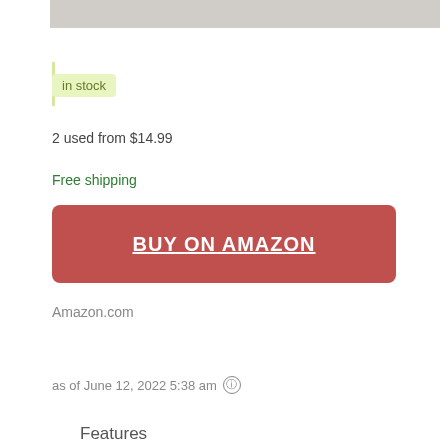[Figure (photo): Partial product image at the top of the page, cropped]
in stock
2 used from $14.99
Free shipping
BUY ON AMAZON
Amazon.com
as of June 12, 2022 5:38 am (i)
Features